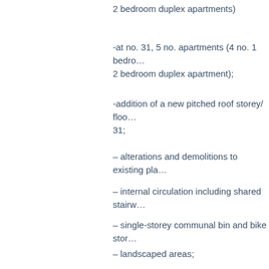2 bedroom duplex apartments)
-at no. 31, 5 no. apartments (4 no. 1 bedroom and 1 no. 2 bedroom duplex apartment);
-addition of a new pitched roof storey/ floor to no. 31;
– alterations and demolitions to existing pla...
– internal circulation including shared stairw...
– single-storey communal bin and bike stor...
– landscaped areas;
– roof mounted solar panels;
– new external and internal signage;